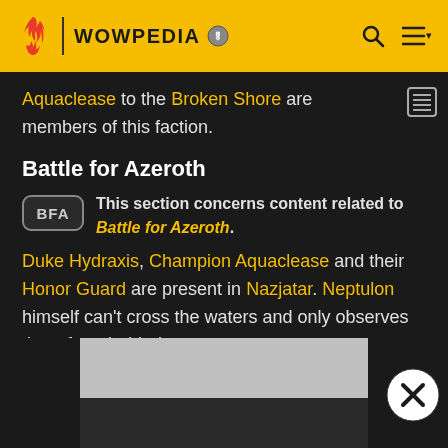WOWPEDIA
Aquaclease to the Broken Shore are members of this faction.
Battle for Azeroth
This section concerns content related to Battle for Azeroth.
Duke Hydraxis, Champion Aquaclease and their Honor Guard are present in Nazjatar. Neptulon himself can't cross the waters and only observes them from behind.
[Figure (other): Advertisement placeholder area with gray and dark sections, and a close button (X) in bottom right]